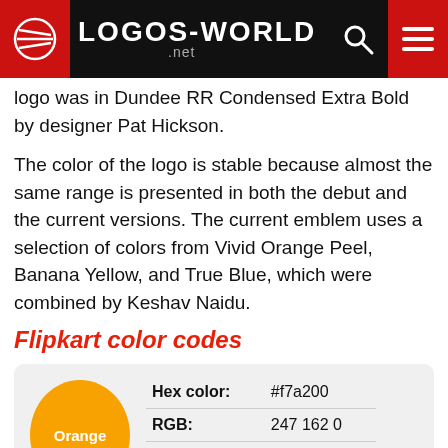LOGOS-WORLD.net
logo was in Dundee RR Condensed Extra Bold by designer Pat Hickson.
The color of the logo is stable because almost the same range is presented in both the debut and the current versions. The current emblem uses a selection of colors from Vivid Orange Peel, Banana Yellow, and True Blue, which were combined by Keshav Naidu.
Flipkart color codes
|  | Hex color: | #f7a200 | RGB: | 247 162 0 | CMYK: | 0 34 100 3 | Pantone: | PMS 137 C |
| --- | --- | --- | --- | --- | --- | --- | --- | --- |
| Hex color: | #f7a200 |
| RGB: | 247 162 0 |
| CMYK: | 0 34 100 3 |
| Pantone: | PMS 137 C |